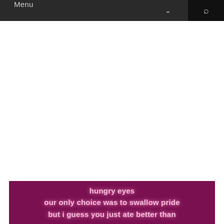Menu ∨ 🔍
[Figure (illustration): Purple/magenta background image with white/pink glowing text showing song lyrics: 'hungry eyes / our only choice was to swallow pride / but i guess you just ate better than']